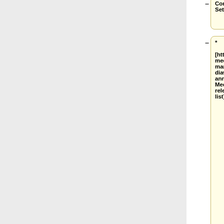* [http://lists.wikimedia.org/mailman/listinfo/mediawiki-announce MediaWiki release mailing list]
Configuration Settings list]
</td>
</tr>
</table>
Latest revision as of 19:46, 25 August 2022